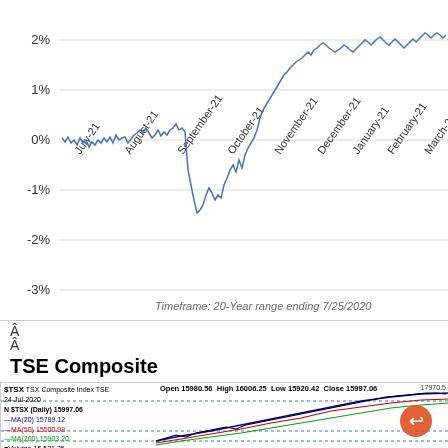[Figure (continuous-plot): Line chart showing percentage performance (y-axis: -3% to 2%+) over time from July-21 to March-21 (fiscal months). The line fluctuates near 0% early, dips to about -2% in September-21, then rises steeply to above 2% from November-21 onward, with volatility. Timeframe annotation: '20-Year range ending 7/25/2020'.]
Â
Â
TSE Composite
[Figure (continuous-plot): Stock chart for $TSX TSX Composite Index TSE dated 24-Jul-2020. Shows candlestick/line data with moving averages MA(20) 15789.12 in blue, MA(50) 15500.98 in red, MA(200) 15903.20 in green. Open 15980.56 High 16006.25 Low 15920.42 Close 15997.06. Right axis shows 17970.5. Blue dotted horizontal lines mark resistance/support levels. Red circular arrow icon overlaid.]